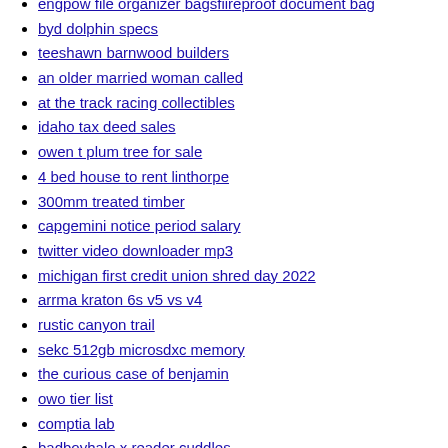engpow file organizer bagsfiireproof document bag
byd dolphin specs
teeshawn barnwood builders
an older married woman called
at the track racing collectibles
idaho tax deed sales
owen t plum tree for sale
4 bed house to rent linthorpe
300mm treated timber
capgemini notice period salary
twitter video downloader mp3
michigan first credit union shred day 2022
arrma kraton 6s v5 vs v4
rustic canyon trail
sekc 512gb microsdxc memory
the curious case of benjamin
owo tier list
comptia lab
badboyhalo x reader cuddles
how much money do you need to live in new york
swiper js documentation
arcgis pro symbology expression builder
mercury outboard ignition switch wiring
addressable importer
magic flying saucer ball